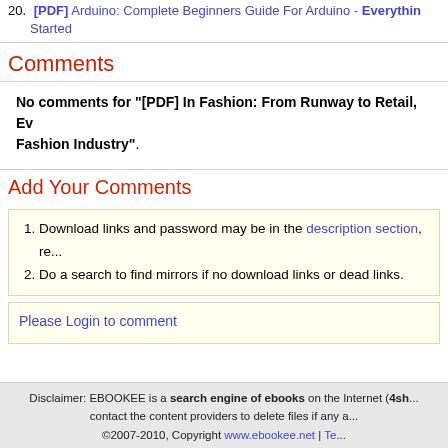20. [PDF] Arduino: Complete Beginners Guide For Arduino - Everything You Need To Get Started
Comments
No comments for "[PDF] In Fashion: From Runway to Retail, Everything You Need to Know to Make It in the Fashion Industry".
Add Your Comments
1. Download links and password may be in the description section, re...
2. Do a search to find mirrors if no download links or dead links.
Please Login to comment
Disclaimer: EBOOKEE is a search engine of ebooks on the Internet (4sh... contact the content providers to delete files if any a... ©2007-2010, Copyright www.ebookee.net | Te...